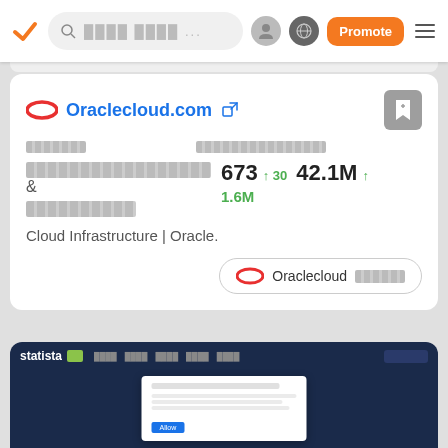Navigation bar with logo, search, user icon, globe, Promote button, menu
[Figure (screenshot): Oraclecloud.com website card showing rank 673 (+30), traffic 42.1M (+1.6M), category info, and description 'Cloud Infrastructure | Oracle.']
[Figure (screenshot): Statista website preview card showing dark blue website screenshot with modal dialog]